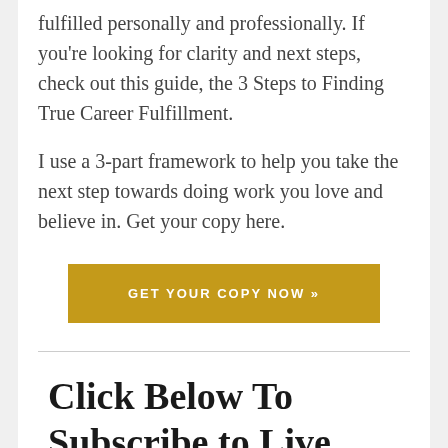fulfilled personally and professionally. If you're looking for clarity and next steps, check out this guide, the 3 Steps to Finding True Career Fulfillment.
I use a 3-part framework to help you take the next step towards doing work you love and believe in. Get your copy here.
[Figure (other): Golden/amber colored button with white uppercase text reading 'GET YOUR COPY NOW »']
Click Below To Subscribe to Live Your